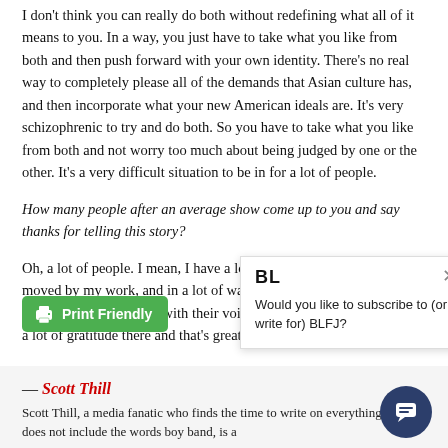I don't think you can really do both without redefining what all of it means to you. In a way, you just have to take what you like from both and then push forward with your own identity. There's no real way to completely please all of the demands that Asian culture has, and then incorporate what your new American ideals are. It's very schizophrenic to try and do both. So you have to take what you like from both and not worry too much about being judged by one or the other. It's a very difficult situation to be in for a lot of people.
How many people after an average show come up to you and say thanks for telling this story?
Oh, a lot of people. I mean, I have a lot of really great people that are moved by my work, and in a lot of ways that have less to do with comedy and more to do with their voice being expressed. There's a lot of gratitude there and that's great.
[Figure (other): Print Friendly button (green) with printer icon]
[Figure (other): Popup box with BL logo, close X, and text: Would you like to subscribe to (or write for) BLFJ?]
— Scott Thill
Scott Thill, a media fanatic who finds the time to write on everything that does not include the words boy band, is a